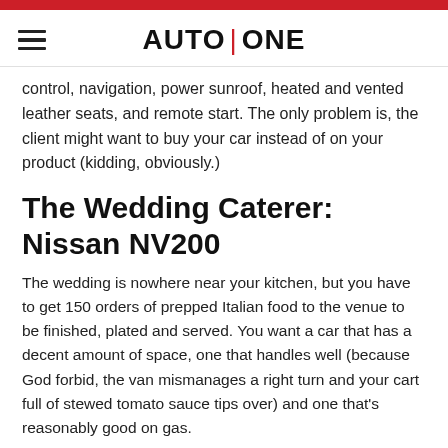AUTO | ONE
control, navigation, power sunroof, heated and vented leather seats, and remote start. The only problem is, the client might want to buy your car instead of on your product (kidding, obviously.)
The Wedding Caterer: Nissan NV200
The wedding is nowhere near your kitchen, but you have to get 150 orders of prepped Italian food to the venue to be finished, plated and served. You want a car that has a decent amount of space, one that handles well (because God forbid, the van mismanages a right turn and your cart full of stewed tomato sauce tips over) and one that's reasonably good on gas.
Pitched as "a commercial vehicle with a small footprint", the